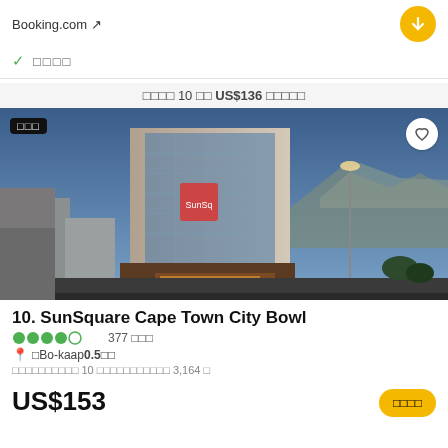Booking.com ↗
✓ □□□□
□□□□ 10 □□ US$136 □□□□□
[Figure (photo): Hotel exterior photo of SunSquare Cape Town City Bowl at dusk, with Table Mountain visible in background. Modern high-rise hotel building with glass facade, illuminated at night.]
10. SunSquare Cape Town City Bowl
●●●●○ 377 □□□
📍 □Bo-kaap0.5□□
□□□□□□□□□□ 10 □□□□□□□□□□□ 3,164 □
US$153